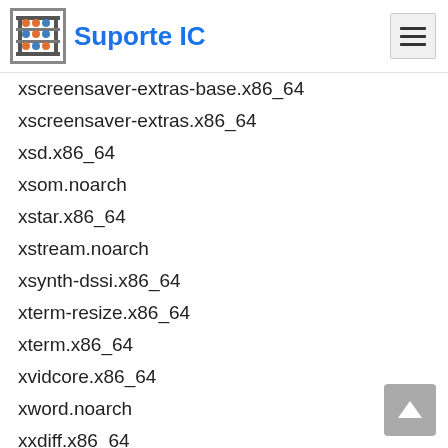Suporte IC
xscreensaver-extras-base.x86_64
xscreensaver-extras.x86_64
xsd.x86_64
xsom.noarch
xstar.x86_64
xstream.noarch
xsynth-dssi.x86_64
xterm-resize.x86_64
xterm.x86_64
xvidcore.x86_64
xword.noarch
xxdiff.x86_64
xyzsh.x86_64
xz-devel.x86_64
xz-java.noarch
xz-libs.i686